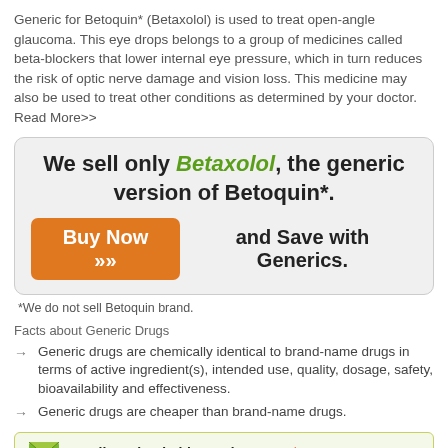Generic for Betoquin* (Betaxolol) is used to treat open-angle glaucoma. This eye drops belongs to a group of medicines called beta-blockers that lower internal eye pressure, which in turn reduces the risk of optic nerve damage and vision loss. This medicine may also be used to treat other conditions as determined by your doctor. Read More>>
We sell only Betaxolol, the generic version of Betoquin*. Buy Now >> and Save with Generics.
*We do not sell Betoquin brand.
Facts about Generic Drugs
Generic drugs are chemically identical to brand-name drugs in terms of active ingredient(s), intended use, quality, dosage, safety, bioavailability and effectiveness.
Generic drugs are cheaper than brand-name drugs.
Email A Friend This Product: Get $25 OFF!